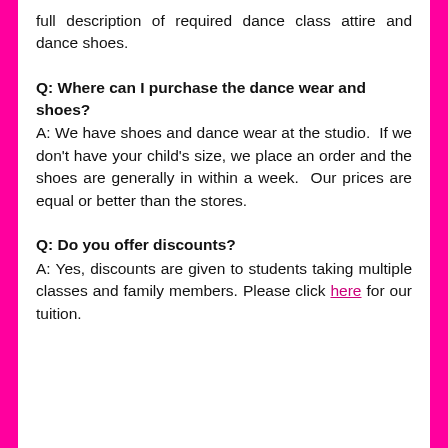full description of required dance class attire and dance shoes.
Q: Where can I purchase the dance wear and shoes?
A: We have shoes and dance wear at the studio.  If we don't have your child's size, we place an order and the shoes are generally in within a week.  Our prices are equal or better than the stores.
Q: Do you offer discounts?
A: Yes, discounts are given to students taking multiple classes and family members. Please click here for our tuition.